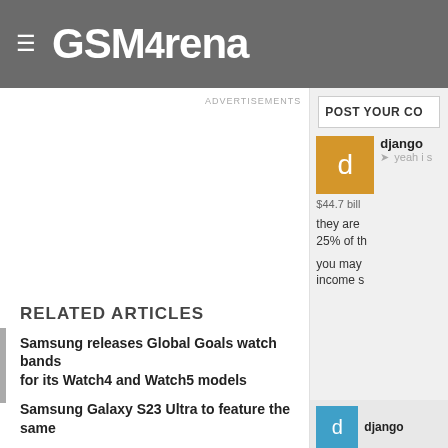GSMArena
ADVERTISEMENTS
POST YOUR CO
django
 yeah i s
 $44.7 bill
 they are 25% of th
 you may income s
RELATED ARTICLES
Samsung releases Global Goals watch bands for its Watch4 and Watch5 models
Samsung Galaxy S23 Ultra to feature the same
django